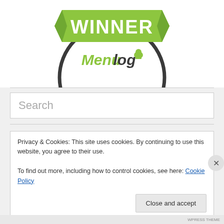[Figure (logo): Menulog Winner badge/logo with green ribbon banner showing 'WINNER' text and circular arc with Menulog branding including chef hat icon]
Search
Privacy & Cookies: This site uses cookies. By continuing to use this website, you agree to their use.
To find out more, including how to control cookies, see here: Cookie Policy
Close and accept